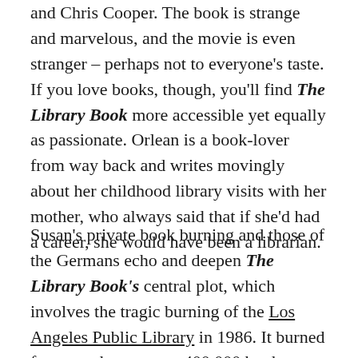and Chris Cooper. The book is strange and marvelous, and the movie is even stranger – perhaps not to everyone's taste. If you love books, though, you'll find The Library Book more accessible yet equally as passionate. Orlean is a book-lover from way back and writes movingly about her childhood library visits with her mother, who always said that if she'd had a career, she would have been a librarian.
Susan's private book burning and those of the Germans echo and deepen The Library Book's central plot, which involves the tragic burning of the Los Angeles Public Library in 1986. It burned for seven hours; over 400,000 books were destroyed and 700,000 more damaged. No one is sure whether the fire was arson or an